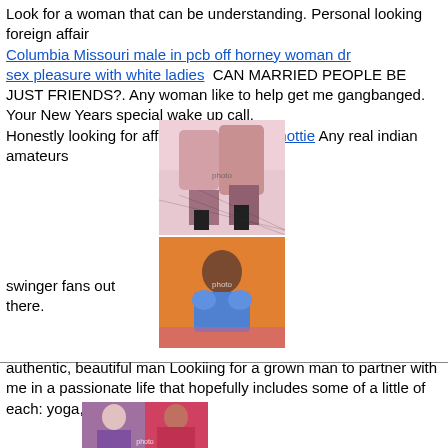Look for a woman that can be understanding. Personal looking foreign affair Columbia Missouri male in pcb off horney woman dr sex pleasure with white ladies  CAN MARRIED PEOPLE BE JUST FRIENDS?. Any woman like to help get me gangbanged. Your New Years special wake up call.
Honestly looking for affair. ballys Wichita hottie Any real indian amateurs
[Figure (photo): Photo of woman's legs in fishnet stockings on pink surface]
swinger fans out there.
[Figure (photo): Photo of woman in blue bra against orange background]
authentic, beautiful man Lookiing for a grown man to partner with me in a passionate life that hopefully includes some of a little of each: yoga, working
[Figure (photo): Photo of two women]